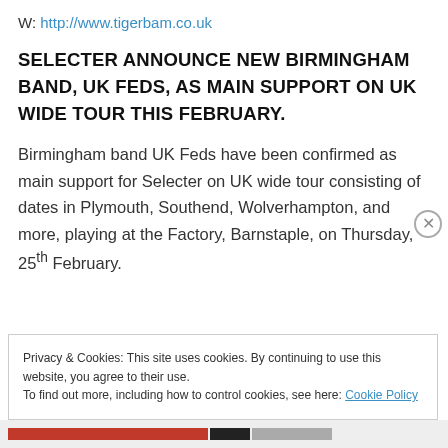W: http://www.tigerbam.co.uk
SELECTER ANNOUNCE NEW BIRMINGHAM BAND, UK FEDS, AS MAIN SUPPORT ON UK WIDE TOUR THIS FEBRUARY.
Birmingham band UK Feds have been confirmed as main support for Selecter on UK wide tour consisting of dates in Plymouth, Southend, Wolverhampton, and more, playing at the Factory, Barnstaple, on Thursday, 25th February.
Privacy & Cookies: This site uses cookies. By continuing to use this website, you agree to their use.
To find out more, including how to control cookies, see here: Cookie Policy